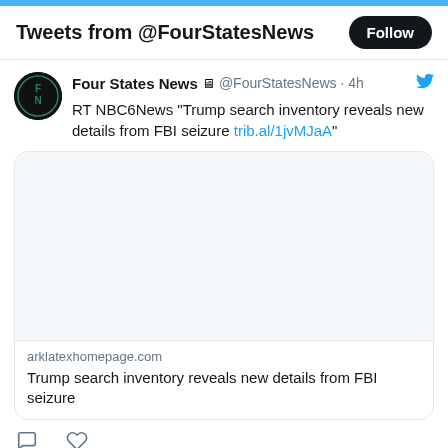Tweets from @FourStatesNews
Four States News 🖥 @FourStatesNews · 4h
RT NBC6News "Trump search inventory reveals new details from FBI seizure trib.al/1jvMJaA"
[Figure (screenshot): Blank image preview card area]
arklatexhomepage.com
Trump search inventory reveals new details from FBI seizure